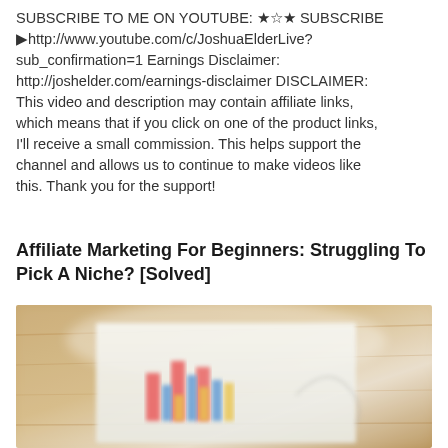SUBSCRIBE TO ME ON YOUTUBE: ★☆★ SUBSCRIBE ►http://www.youtube.com/c/JoshuaElderLive?sub_confirmation=1 Earnings Disclaimer: http://joshelder.com/earnings-disclaimer DISCLAIMER: This video and description may contain affiliate links, which means that if you click on one of the product links, I'll receive a small commission. This helps support the channel and allows us to continue to make videos like this. Thank you for the support!
Affiliate Marketing For Beginners: Struggling To Pick A Niche? [Solved]
[Figure (photo): A blurred photograph of a paper chart showing colorful bar graphs (red, blue, yellow) on a wooden desk surface, with a hand-drawn outline partially visible.]